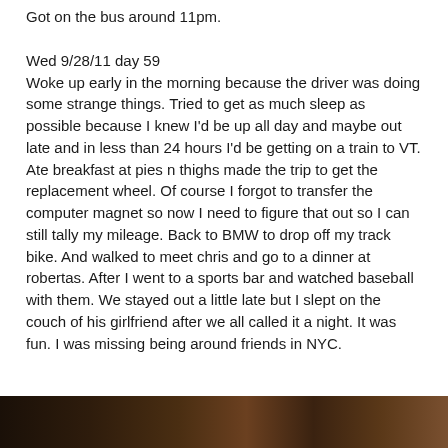Got on the bus around 11pm.
Wed 9/28/11 day 59
Woke up early in the morning because the driver was doing some strange things. Tried to get as much sleep as possible because I knew I'd be up all day and maybe out late and in less than 24 hours I'd be getting on a train to VT. Ate breakfast at pies n thighs made the trip to get the replacement wheel. Of course I forgot to transfer the computer magnet so now I need to figure that out so I can still tally my mileage. Back to BMW to drop off my track bike. And walked to meet chris and go to a dinner at robertas. After I went to a sports bar and watched baseball with them. We stayed out a little late but I slept on the couch of his girlfriend after we all called it a night. It was fun. I was missing being around friends in NYC.
[Figure (photo): Dark photo, partially visible at bottom of page, appears to show an indoor scene with warm tones]